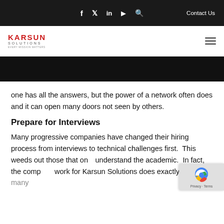f  🐦  in  ▶  🔍   Contact Us
[Figure (logo): Karsun Solutions logo with hamburger menu icon]
[Figure (photo): Dark hero banner strip]
one has all the answers, but the power of a network often does and it can open many doors not seen by others.
Prepare for Interviews
Many progressive companies have changed their hiring process from interviews to technical challenges first.  This weeds out those that only understand the academic.  In fact, the company work for Karsun Solutions does exactly this in many